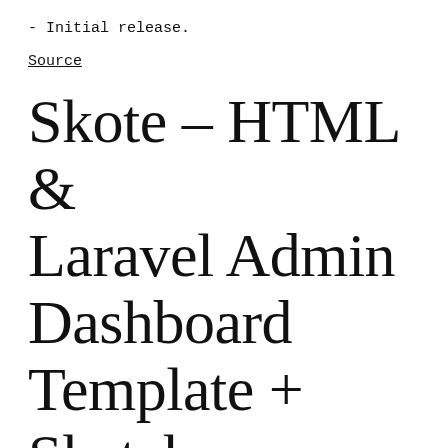- Initial release.
Source
Skote – HTML & Laravel Admin Dashboard Template + Sketch
#Skote #HTML #Laravel #Admin #Dashboard #Template #Sketch advancesolar.net